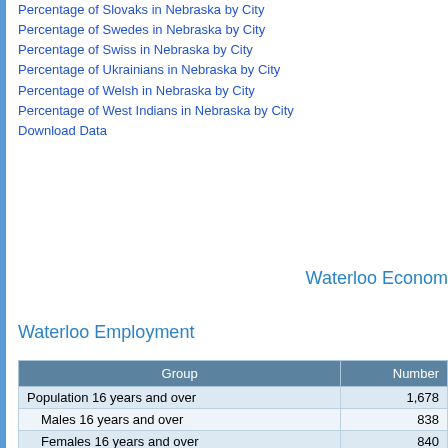Percentage of Slovaks in Nebraska by City
Percentage of Swedes in Nebraska by City
Percentage of Swiss in Nebraska by City
Percentage of Ukrainians in Nebraska by City
Percentage of Welsh in Nebraska by City
Percentage of West Indians in Nebraska by City
Download Data
Waterloo Econom
Waterloo Employment
| Group | Number |
| --- | --- |
| Population 16 years and over | 1,678 |
| Males 16 years and over | 838 |
| Females 16 years and over | 840 |
| In labor force | 1,192 |
| Males in labor force | 626 |
| Females in labor force | 566 |
| Civilian labor force | 1,192 |
| Employed | 1,156 |
| Unemployed | 36 |
| Unemployment level | - |
| Armed Forces | 0 |
| Not in labor force | 486 |